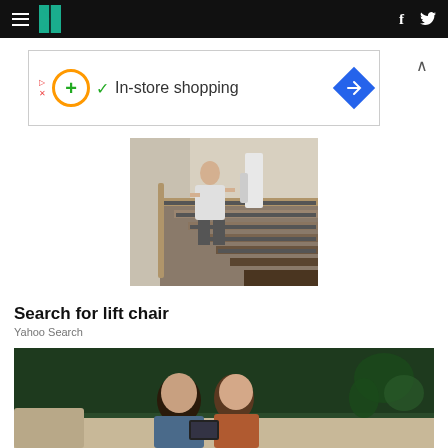HuffPost navigation bar with hamburger menu, logo, facebook and twitter icons
[Figure (screenshot): Advertisement banner showing in-store shopping with orange circle plus icon, green checkmark, and blue diamond navigation icon]
[Figure (photo): Elderly bald man using stair lift on a wooden staircase in a home]
Search for lift chair
Yahoo Search
[Figure (photo): Young couple sitting on a couch looking at a phone together against a dark green wall with a plant]